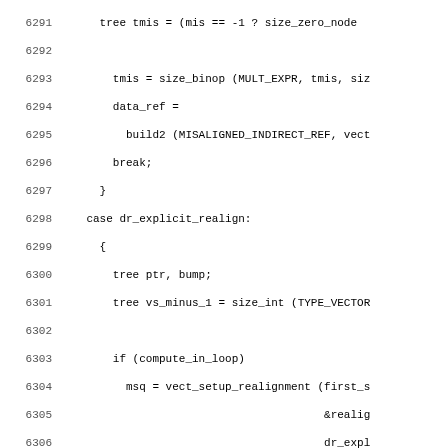Source code listing lines 6291-6322 showing C/C++ code for vectorization with misaligned indirect ref, dr_explicit_realign case, and related operations.